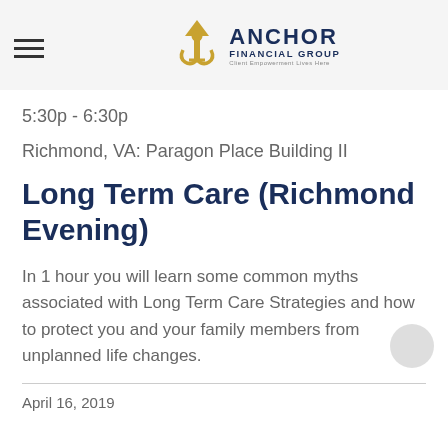Anchor Financial Group — Client Empowerment Lives Here
5:30p - 6:30p
Richmond, VA: Paragon Place Building II
Long Term Care (Richmond Evening)
In 1 hour you will learn some common myths associated with Long Term Care Strategies and how to protect you and your family members from unplanned life changes.